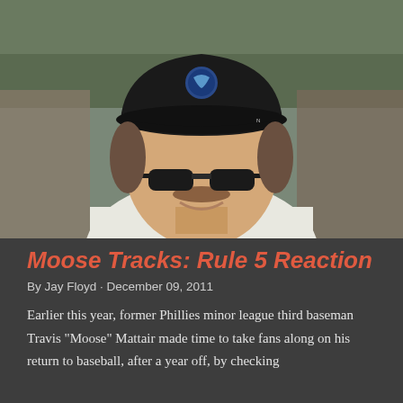[Figure (photo): A smiling baseball player wearing a black cap with a blue logo and sunglasses, dressed in a white baseball uniform with a dark collar. He is photographed outdoors at a stadium with blurred crowd in background.]
Moose Tracks: Rule 5 Reaction
By Jay Floyd · December 09, 2011
Earlier this year, former Phillies minor league third baseman Travis "Moose" Mattair made time to take fans along on his return to baseball, after a year off, by checking